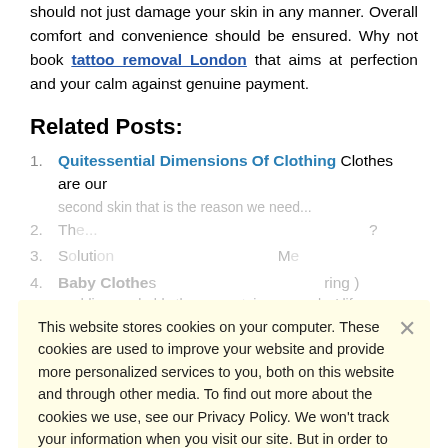should not just damage your skin in any manner. Overall comfort and convenience should be ensured. Why not book tattoo removal London that aims at perfection and your calm against genuine payment.
Related Posts:
1. Quitessential Dimensions Of Clothing Clothes are our second skin that is the reason we need...
2. (faded item)
3. (faded item)
4. Baby Clothes... wedding, probably the most important moment in any couples' life...
5. Buy Luxury Towels Online when looking to buy towels online...
This website stores cookies on your computer. These cookies are used to improve your website and provide more personalized services to you, both on this website and through other media. To find out more about the cookies we use, see our Privacy Policy. We won't track your information when you visit our site. But in order to comply with your preferences, we'll have to use just one tiny cookie so that you're not asked to make this choice again.Please contact at dataprotection@missbusinessblog.com